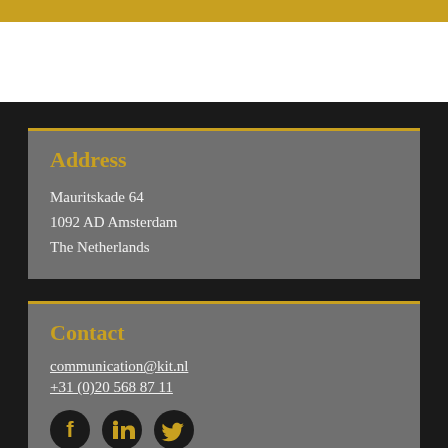Address
Mauritskade 64
1092 AD Amsterdam
The Netherlands
Contact
communication@kit.nl
+31 (0)20 568 87 11
[Figure (other): Social media icons: Facebook, LinkedIn, Twitter]